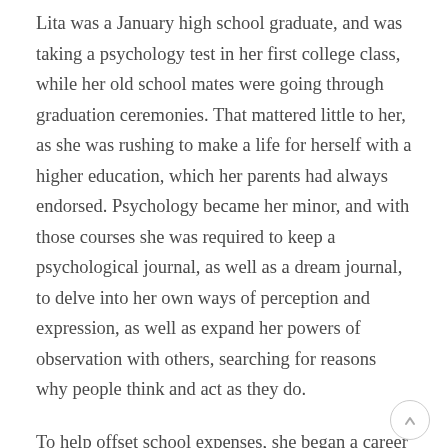Lita was a January high school graduate, and was taking a psychology test in her first college class, while her old school mates were going through graduation ceremonies. That mattered little to her, as she was rushing to make a life for herself with a higher education, which her parents had always endorsed. Psychology became her minor, and with those courses she was required to keep a psychological journal, as well as a dream journal, to delve into her own ways of perception and expression, as well as expand her powers of observation with others, searching for reasons why people think and act as they do.
To help offset school expenses, she began a career in food service, first as a waitress and then in the kitchen. Her father had been a baker while serving in the Merchant Marines, and her Italian mother and grandmother were